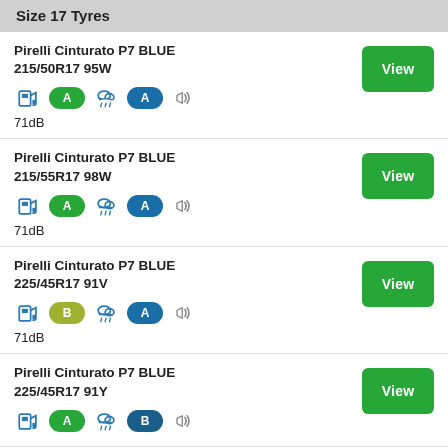Size 17 Tyres
Pirelli Cinturato P7 BLUE 215/50R17 95W, fuel: A, wet: A, 71dB
Pirelli Cinturato P7 BLUE 215/55R17 98W, fuel: A, wet: A, 71dB
Pirelli Cinturato P7 BLUE 225/45R17 91V, fuel: B, wet: A, 71dB
Pirelli Cinturato P7 BLUE 225/45R17 91Y, fuel: A, wet: B